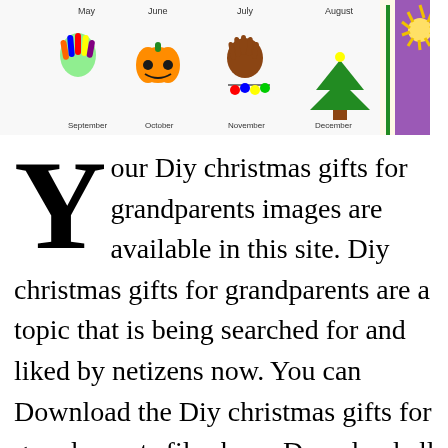[Figure (illustration): A colorful banner image showing months from May to December with hand-print art, pumpkins, Christmas trees, and a yellow flower/dandelion on a white background. Each month label is shown beneath the corresponding illustration.]
Your Diy christmas gifts for grandparents images are available in this site. Diy christmas gifts for grandparents are a topic that is being searched for and liked by netizens now. You can Download the Diy christmas gifts for grandparents files here. Download all royalty-free photos.